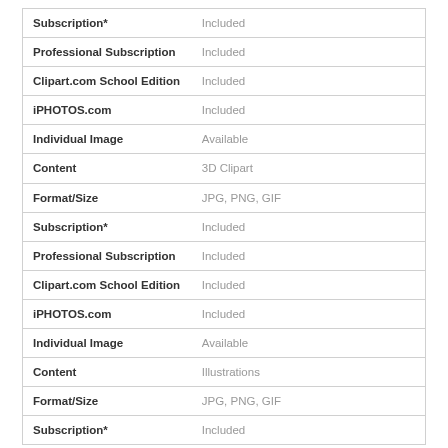|  |  |
| --- | --- |
| Subscription* | Included |
| Professional Subscription | Included |
| Clipart.com School Edition | Included |
| iPHOTOS.com | Included |
| Individual Image | Available |
| Content | 3D Clipart |
| Format/Size | JPG, PNG, GIF |
| Subscription* | Included |
| Professional Subscription | Included |
| Clipart.com School Edition | Included |
| iPHOTOS.com | Included |
| Individual Image | Available |
| Content | Illustrations |
| Format/Size | JPG, PNG, GIF |
| Subscription* | Included |